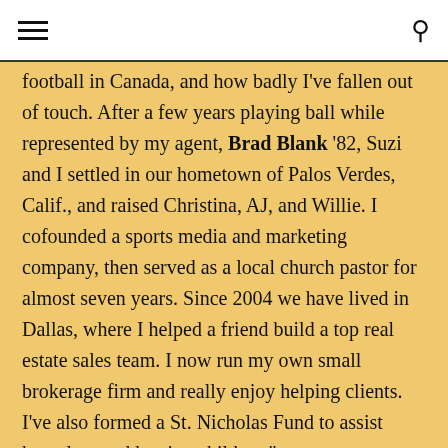football in Canada, and how badly I've fallen out of touch. After a few years playing ball while represented by my agent, Brad Blank '82, Suzi and I settled in our hometown of Palos Verdes, Calif., and raised Christina, AJ, and Willie. I cofounded a sports media and marketing company, then served as a local church pastor for almost seven years. Since 2004 we have lived in Dallas, where I helped a friend build a top real estate sales team. I now run my own small brokerage firm and really enjoy helping clients. I've also formed a St. Nicholas Fund to assist homeless and hurting children."
FROM THE NOVEMBER/DECEMBER 2008 ISSUE
Carrie Swanson Fleming writes: "After 19 years, I've